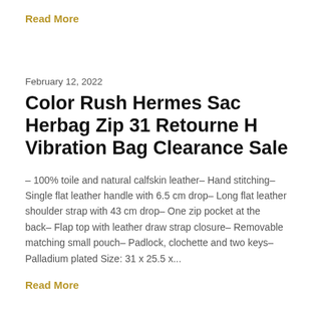Read More
February 12, 2022
Color Rush Hermes Sac Herbag Zip 31 Retourne H Vibration Bag Clearance Sale
– 100% toile and natural calfskin leather– Hand stitching– Single flat leather handle with 6.5 cm drop– Long flat leather shoulder strap with 43 cm drop– One zip pocket at the back– Flap top with leather draw strap closure– Removable matching small pouch– Padlock, clochette and two keys– Palladium plated Size: 31 x 25.5 x...
Read More